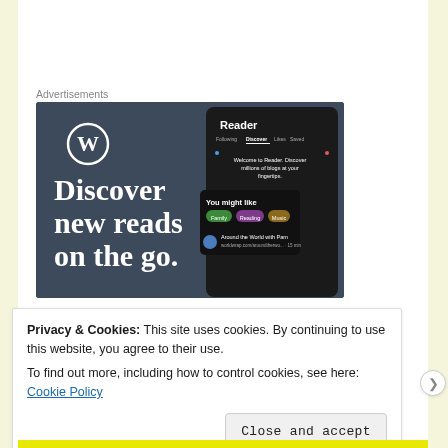Advertisements
[Figure (screenshot): WordPress advertisement showing 'Discover new reads on the go.' with the WordPress logo and a Reader app interface screenshot on a dark blue-grey background.]
Privacy & Cookies: This site uses cookies. By continuing to use this website, you agree to their use.
To find out more, including how to control cookies, see here: Cookie Policy
Close and accept